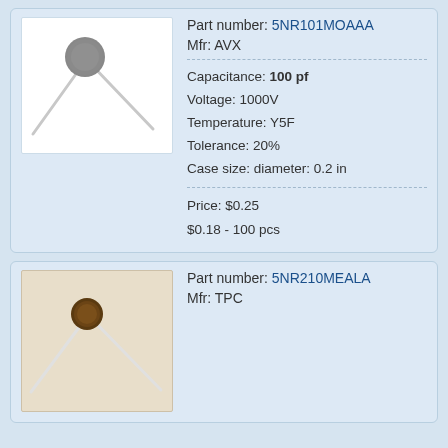[Figure (photo): Disc capacitor component on white background, small round grey disc with two silver leads extending diagonally.]
Part number: 5NR101MOAAA
Mfr: AVX
Capacitance: 100 pf
Voltage: 1000V
Temperature: Y5F
Tolerance: 20%
Case size: diameter: 0.2 in
Price: $0.25
$0.18 - 100 pcs
[Figure (photo): Disc capacitor component on beige/cream background, small round brown disc with two silver-white leads extending diagonally.]
Part number: 5NR210MEALA
Mfr: TPC